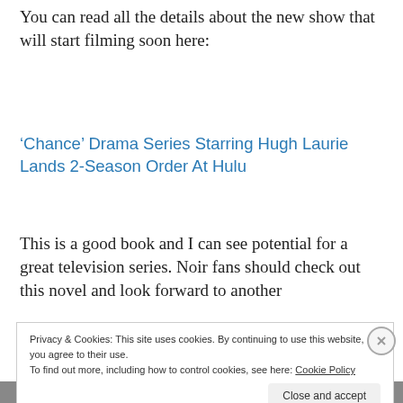You can read all the details about the new show that will start filming soon here:
‘Chance’ Drama Series Starring Hugh Laurie Lands 2-Season Order At Hulu
This is a good book and I can see potential for a great television series. Noir fans should check out this novel and look forward to another
Privacy & Cookies: This site uses cookies. By continuing to use this website, you agree to their use.
To find out more, including how to control cookies, see here: Cookie Policy
Close and accept